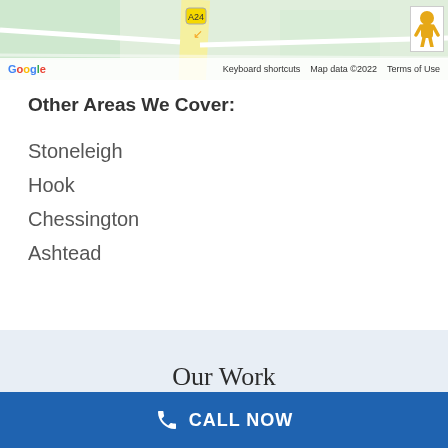[Figure (map): Google Maps screenshot showing a street map with road and Google branding. Map data ©2022. Shows keyboard shortcuts, map data copyright, and Terms of Use in footer bar.]
Other Areas We Cover:
Stoneleigh
Hook
Chessington
Ashtead
Our Work
CALL NOW